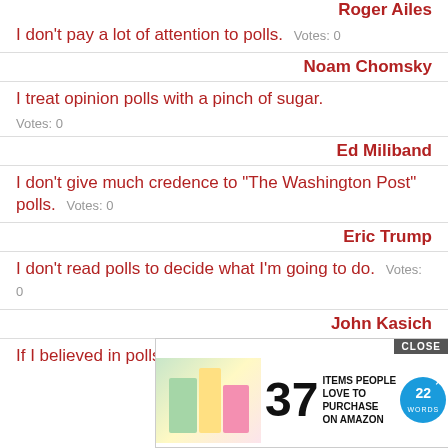Roger Ailes (partial, cut off at top)
I don't pay a lot of attention to polls.
Noam Chomsky
I treat opinion polls with a pinch of sugar.
Ed Miliband
I don't give much credence to "The Washington Post" polls.
Eric Trump
I don't read polls to decide what I'm going to do.
John Kasich
If I believed in polls, I wouldn't get up in the (partial)
[Figure (screenshot): Advertisement overlay showing '37 Items People Love to Purchase on Amazon' with 22 Words logo, CLOSE button, and lifestyle images]